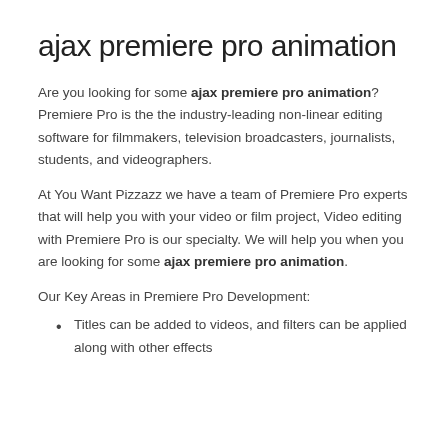ajax premiere pro animation
Are you looking for some ajax premiere pro animation? Premiere Pro is the the industry-leading non-linear editing software for filmmakers, television broadcasters, journalists, students, and videographers.
At You Want Pizzazz we have a team of Premiere Pro experts that will help you with your video or film project, Video editing with Premiere Pro is our specialty. We will help you when you are looking for some ajax premiere pro animation.
Our Key Areas in Premiere Pro Development:
Titles can be added to videos, and filters can be applied along with other effects